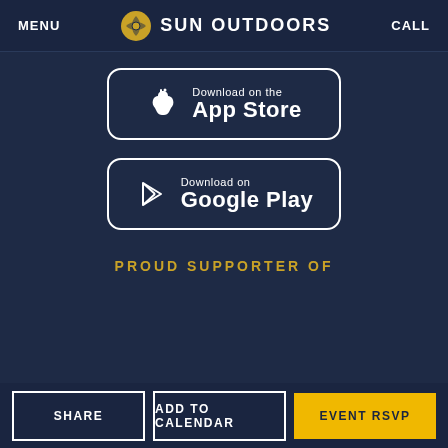MENU  SUN OUTDOORS  CALL
[Figure (other): Download on the App Store button with Apple logo]
[Figure (other): Download on Google Play button with Play Store logo]
PROUD SUPPORTER OF
SHARE  ADD TO CALENDAR  EVENT RSVP